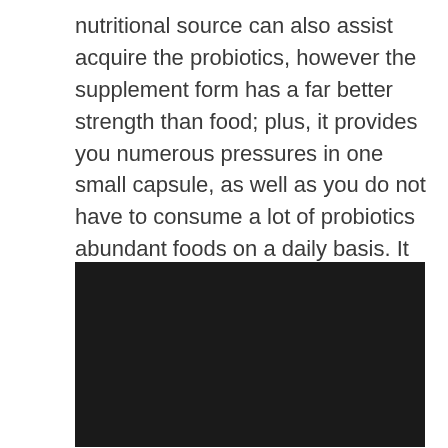nutritional source can also assist acquire the probiotics, however the supplement form has a far better strength than food; plus, it provides you numerous pressures in one small capsule, as well as you do not have to consume a lot of probiotics abundant foods on a daily basis. It is a vegan/vegetarian-friendly item, without nuts, soy, dairy, BPAs, and genetically modified components.
[Figure (photo): A dark/black rectangular image, likely a product photo or video thumbnail with very dark background.]